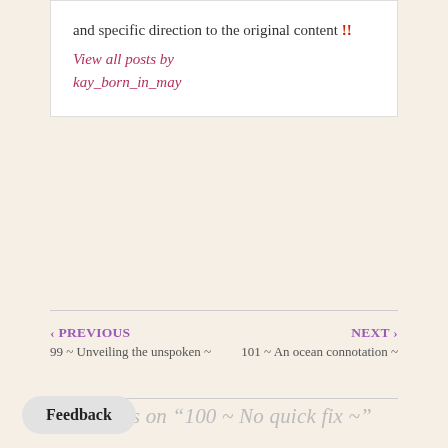and specific direction to the original content !! View all posts by kay_born_in_may
< PREVIOUS
99 ~ Unveiling the unspoken ~
NEXT >
101 ~ An ocean connotation ~
5 thoughts on "100 ~ No quick fix ~"
Binti Mahmood
OCTOBER 17, 2018 AT 7:59 PM
On point as always Masha Allah 🤙🤙🤙
Feedback